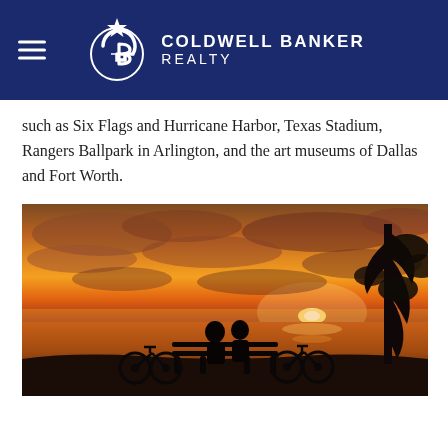Coldwell Banker Realty
such as Six Flags and Hurricane Harbor, Texas Stadium, Rangers Ballpark in Arlington, and the art museums of Dallas and Fort Worth.
[Figure (photo): Silhouette photo of two people sitting on a bench with bicycles beside a lake or river, watching a vivid orange and golden sunset with dramatic clouds.]